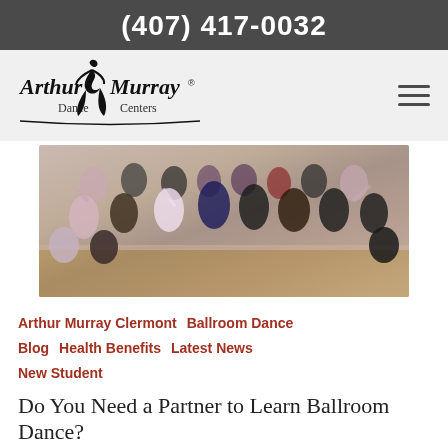(407) 417-0032
[Figure (logo): Arthur Murray Dance Centers logo with stylized dancing figure]
[Figure (photo): Group photo of Arthur Murray dance students and instructors on a ballroom dance floor, dressed in formal attire, posing and waving]
Arthur Murray Clermont   Ballroom Dance   Blog   Health Benefits   Latest News   New Student
Do You Need a Partner to Learn Ballroom Dance?